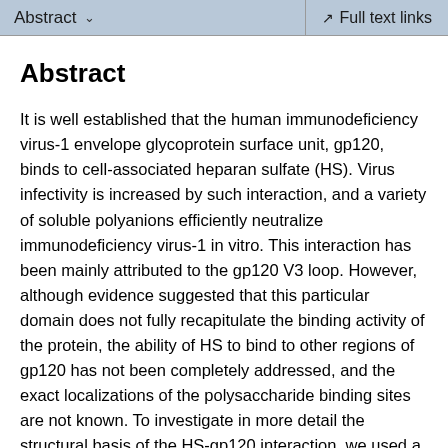Abstract | Full text links
Abstract
It is well established that the human immunodeficiency virus-1 envelope glycoprotein surface unit, gp120, binds to cell-associated heparan sulfate (HS). Virus infectivity is increased by such interaction, and a variety of soluble polyanions efficiently neutralize immunodeficiency virus-1 in vitro. This interaction has been mainly attributed to the gp120 V3 loop. However, although evidence suggested that this particular domain does not fully recapitulate the binding activity of the protein, the ability of HS to bind to other regions of gp120 has not been completely addressed, and the exact localizations of the polysaccharide binding sites are not known. To investigate in more detail the structural basis of the HS-gp120 interaction, we used a mapping strategy and compared the heparin binding activity of wild type and